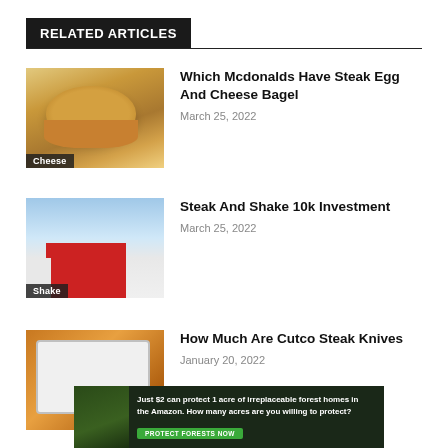RELATED ARTICLES
[Figure (photo): Photo of a steak egg and cheese bagel sandwich with a 'Cheese' label overlay]
Which Mcdonalds Have Steak Egg And Cheese Bagel
March 25, 2022
[Figure (photo): Photo of a Steak 'n Shake restaurant building exterior with a 'Shake' label overlay]
Steak And Shake 10k Investment
March 25, 2022
[Figure (photo): Photo of Cutco steak knives in a presentation box with a label overlay]
How Much Are Cutco Steak Knives
January 20, 2022
[Figure (photo): Advertisement banner: Just $2 can protect 1 acre of irreplaceable forest homes in the Amazon. How many acres are you willing to protect? PROTECT FORESTS NOW]